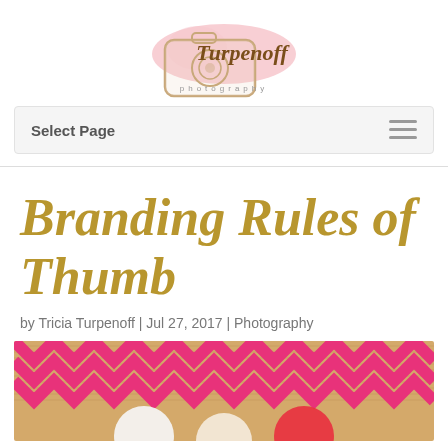[Figure (logo): Turpenoff Photography logo with watercolor camera graphic and script text]
Select Page
Branding Rules of Thumb
by Tricia Turpenoff | Jul 27, 2017 | Photography
[Figure (photo): Photo showing a burlap/woven texture with pink chevron pattern and circular objects at bottom]